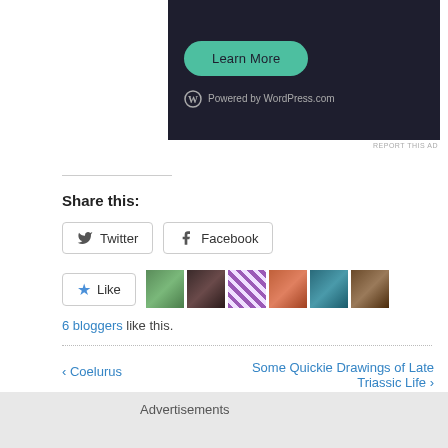[Figure (screenshot): Dark-themed advertisement banner with a teal 'Learn More' button and 'Powered by WordPress.com' text at bottom]
REPORT THIS AD
Share this:
[Figure (screenshot): Twitter and Facebook share buttons with rounded rectangle borders]
[Figure (screenshot): Like button with star icon and 6 blogger avatars]
6 bloggers like this.
« Coelurus
Some Quickie Drawings of Late Triassic Life »
Advertisements